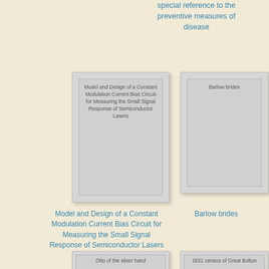special reference to the preventive measures of disease
[Figure (illustration): Book cover card for 'Model and Design of a Constant Modulation Current Bias Circuit for Measuring the Small Signal Response of Semiconductor Lasers']
[Figure (illustration): Book cover card for 'Barlow brides']
Model and Design of a Constant Modulation Current Bias Circuit for Measuring the Small Signal Response of Semiconductor Lasers
Barlow brides
[Figure (illustration): Book cover card for 'Otto of the silver hand']
[Figure (illustration): Book cover card for '1831 census of Great Bolton']